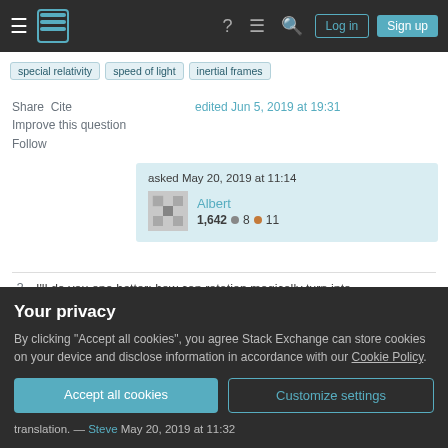≡ [Stack Exchange logo] ? ≡ 🔍 Log in Sign up
special relativity   speed of light   inertial frames
Share  Cite
edited Jun 5, 2019 at 19:31
Improve this question
Follow
asked May 20, 2019 at 11:14
Albert
1,642 ● 8 ● 11
2   I'll do you one better: how can rotation magically turn into translation just by using an infinitely large ring?
Your privacy
By clicking "Accept all cookies", you agree Stack Exchange can store cookies on your device and disclose information in accordance with our Cookie Policy.
Accept all cookies   Customize settings
translation. — Steve May 20, 2019 at 11:32